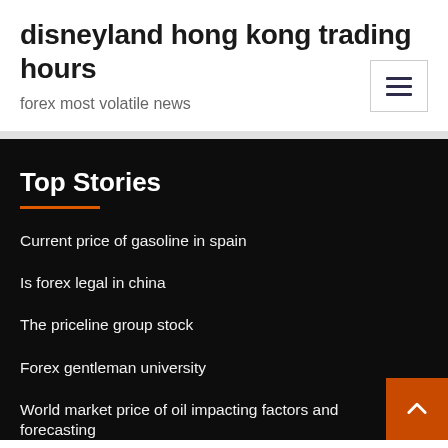disneyland hong kong trading hours
forex most volatile news
Top Stories
Current price of gasoline in spain
Is forex legal in china
The priceline group stock
Forex gentleman university
World market price of oil impacting factors and forecasting
...